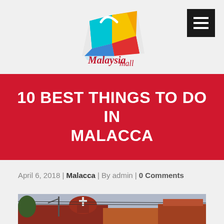[Figure (logo): Malaysia Mall logo — colorful geometric shopping bag shape with a white handle curve, text reads 'Malaysia mall' in script font below]
[Figure (other): Hamburger menu icon: dark/black square with three horizontal white bars]
10 BEST THINGS TO DO IN MALACCA
April 6, 2018 | Malacca | By admin | 0 Comments
[Figure (photo): Street-level photo of Malacca's historic town center showing a red brick colonial church/building with a white cross, street lamp, power lines, and adjacent orange-roofed buildings under a cloudy sky]